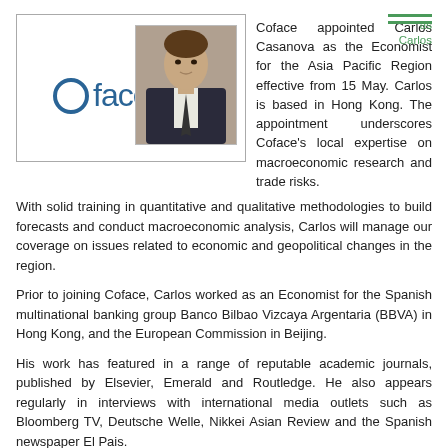[Figure (photo): Coface logo on the left, photo of Carlos Casanova (man in dark suit) on the right, inside a bordered box]
Coface appointed Carlos Casanova as the Economist for the Asia Pacific Region effective from 15 May. Carlos is based in Hong Kong. The appointment underscores Coface's local expertise on macroeconomic research and trade risks.
With solid training in quantitative and qualitative methodologies to build forecasts and conduct macroeconomic analysis, Carlos will manage our coverage on issues related to economic and geopolitical changes in the region.
Prior to joining Coface, Carlos worked as an Economist for the Spanish multinational banking group Banco Bilbao Vizcaya Argentaria (BBVA) in Hong Kong, and the European Commission in Beijing.
His work has featured in a range of reputable academic journals, published by Elsevier, Emerald and Routledge. He also appears regularly in interviews with international media outlets such as Bloomberg TV, Deutsche Welle, Nikkei Asian Review and the Spanish newspaper El Pais.